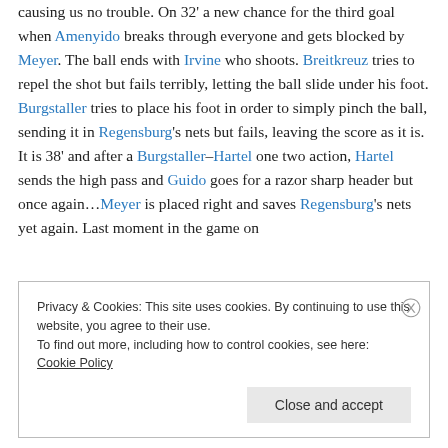causing us no trouble. On 32' a new chance for the third goal when Amenyido breaks through everyone and gets blocked by Meyer. The ball ends with Irvine who shoots. Breitkreuz tries to repel the shot but fails terribly, letting the ball slide under his foot. Burgstaller tries to place his foot in order to simply pinch the ball, sending it in Regensburg's nets but fails, leaving the score as it is. It is 38' and after a Burgstaller–Hartel one two action, Hartel sends the high pass and Guido goes for a razor sharp header but once again…Meyer is placed right and saves Regensburg's nets yet again. Last moment in the game on
Privacy & Cookies: This site uses cookies. By continuing to use this website, you agree to their use. To find out more, including how to control cookies, see here: Cookie Policy